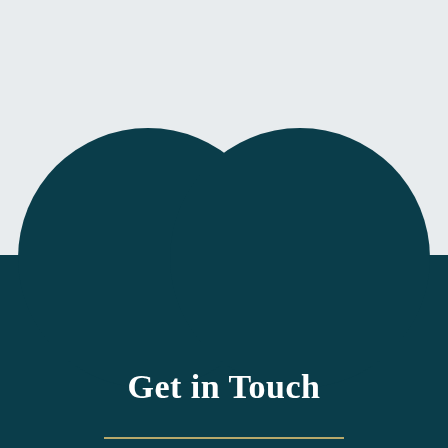[Figure (illustration): Decorative graphic with light grey upper half and dark teal lower half. Two large dark teal semicircles protrude upward from the teal section into the grey area, meeting at a point in the center, resembling an open book or two arches.]
Get in Touch